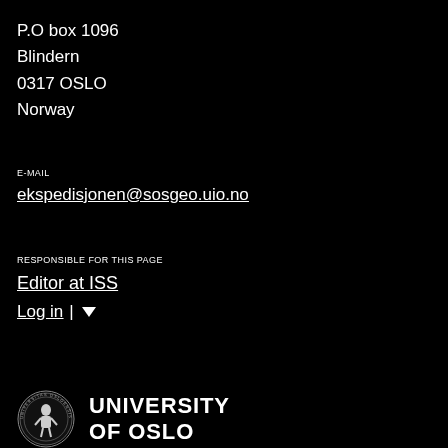P.O box 1096
Blindern
0317 OSLO
Norway
E-MAIL
ekspedisjonen@sosgeo.uio.no
RESPONSIBLE FOR THIS PAGE
Editor at ISS
Log in
[Figure (logo): University of Oslo circular seal logo with figure and text, alongside UNIVERSITY OF OSLO text]